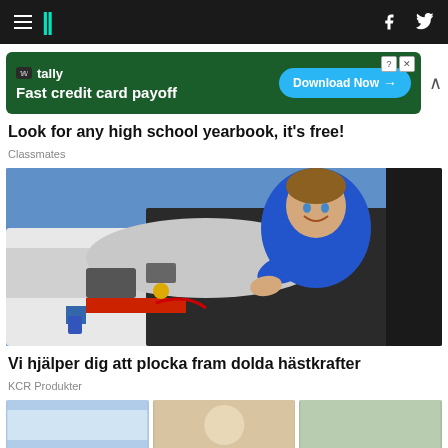HuffPost navigation bar with hamburger menu, logo, Facebook and Twitter icons
[Figure (screenshot): Tally advertisement banner: 'Fast credit card payoff' with Download Now button]
Look for any high school yearbook, it's free!
Classmates
[Figure (photo): A smiling mechanic in a blue uniform leaning over an open car engine bay]
Vi hjälper dig att plocka fram dolda hästkrafter
KCR Produkter
[Figure (photo): Partial thumbnails of additional articles at the bottom of the page]